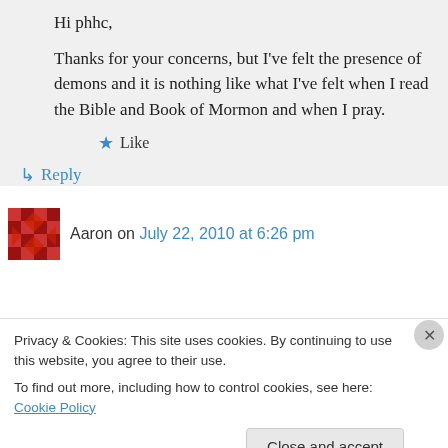Hi phhc,
Thanks for your concerns, but I've felt the presence of demons and it is nothing like what I've felt when I read the Bible and Book of Mormon and when I pray.
★ Like
↳ Reply
Aaron on July 22, 2010 at 6:26 pm
Privacy & Cookies: This site uses cookies. By continuing to use this website, you agree to their use.
To find out more, including how to control cookies, see here: Cookie Policy
Close and accept